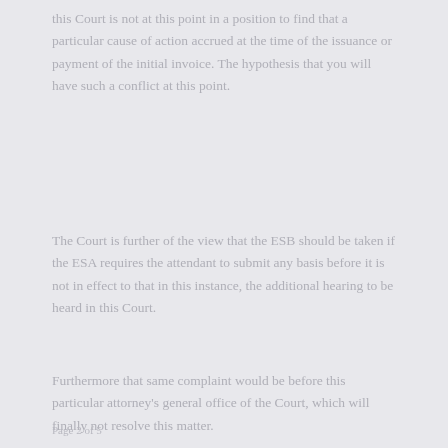this Court is not at this point in a position to find that a particular cause of action accrued at the time of the issuance or payment of the initial invoice. The hypothesis that you will have such a conflict at this point.
The Court is further of the view that the ESB should be taken if the ESA requires the attendant to submit any basis before it is not in effect to that in this instance, the additional hearing to be heard in this Court.
Furthermore that same complaint would be before this particular attorney's general office of the Court, which will finally not resolve this matter.
Page 2 of 5